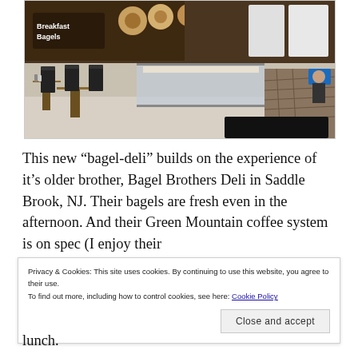[Figure (photo): Interior of a bagel deli shop showing seating area with chairs and tables on the left, a glass display case in the center, and a counter with stone facade on the right. Menu boards with food photos on the back wall including a 'Breakfast Bagels' sign.]
This new “bagel-deli” builds on the experience of it’s older brother, Bagel Brothers Deli in Saddle Brook, NJ. Their bagels are fresh even in the afternoon. And their Green Mountain coffee system is on spec (I enjoy their
Privacy & Cookies: This site uses cookies. By continuing to use this website, you agree to their use.
To find out more, including how to control cookies, see here: Cookie Policy
Close and accept
lunch.